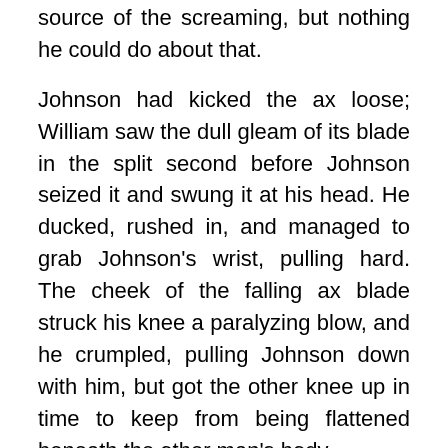nothing white or bodies in the corner was the source of the screaming, but nothing he could do about that.
Johnson had kicked the ax loose; William saw the dull gleam of its blade in the split second before Johnson seized it and swung it at his head. He ducked, rushed in, and managed to grab Johnson's wrist, pulling hard. The cheek of the falling ax blade struck his knee a paralyzing blow, and he crumpled, pulling Johnson down with him, but got the other knee up in time to keep from being flattened beneath the other man's body.
He jerked to the side, felt sudden heat at his